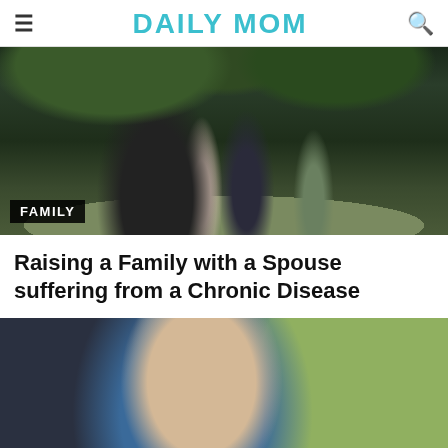DAILY MOM
[Figure (photo): Family of five standing in an orchard path surrounded by trees. Two adults and three children posing outdoors. A category label 'FAMILY' appears in the lower left corner.]
Raising a Family with a Spouse suffering from a Chronic Disease
[Figure (photo): Close-up photo of a man wearing a blue vest and teal shirt, looking down and touching something on his chest, possibly a medical device. Background is blurred with green and dark tones.]